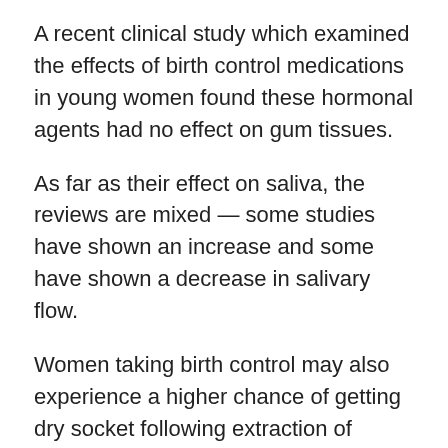A recent clinical study which examined the effects of birth control medications in young women found these hormonal agents had no effect on gum tissues.
As far as their effect on saliva, the reviews are mixed — some studies have shown an increase and some have shown a decrease in salivary flow.
Women taking birth control may also experience a higher chance of getting dry socket following extraction of wisdom teeth.
So, it pays to experiment with different oral contraceptives until you get it right. Don't accept long term gum inflammation — you just don't have to.
So, if you're on birth control, you might have a lot of